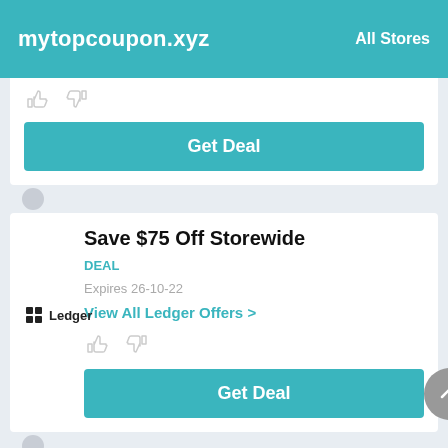mytopcoupon.xyz   All Stores
Get Deal
Save $75 Off Storewide
DEAL
Expires 26-10-22
View All Ledger Offers >
Get Deal
25% Off Any Purchase